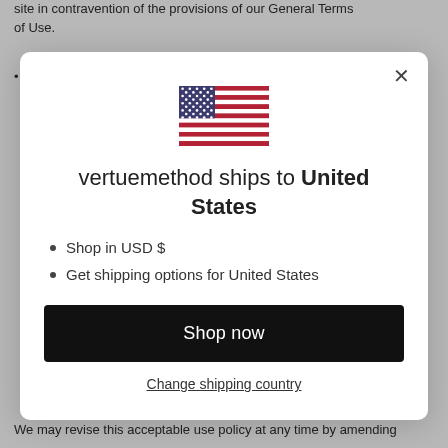site in contravention of the provisions of our General Terms of Use.
Not to access without authority, interfere with, damage or
[Figure (illustration): US flag emoji/icon centered in modal]
vertuemethod ships to United States
Shop in USD $
Get shipping options for United States
Shop now
Change shipping country
We may revise this acceptable use policy at any time by amending